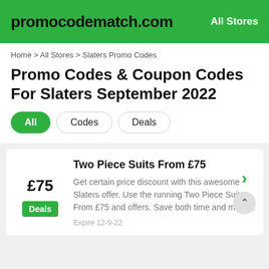promocodematch.com | All Stores
Home > All Stores > Slaters Promo Codes
Promo Codes & Coupon Codes For Slaters September 2022
All | Codes | Deals
Two Piece Suits From £75
£75
Deals
Get certain price discount with this awesome Slaters offer. Use the running Two Piece Suits From £75 and offers. Save both time and money.
Expire 12-9-22